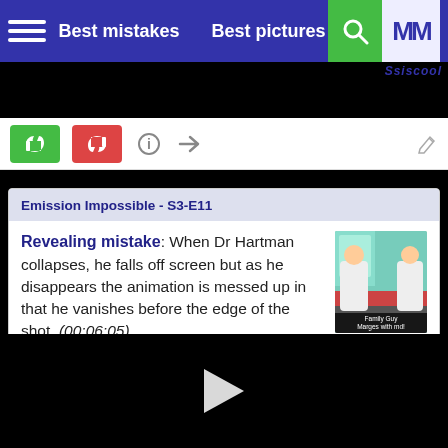Best mistakes   Best pictures
Ssiscool
Emission Impossible - S3-E11
Revealing mistake: When Dr Hartman collapses, he falls off screen but as he disappears the animation is messed up in that he vanishes before the edge of the shot. (00:06:05)
[Figure (screenshot): Thumbnail screenshot from Family Guy animation showing characters near a medical table]
Ssiscool ⭐
[Figure (screenshot): Black video player area with play button]